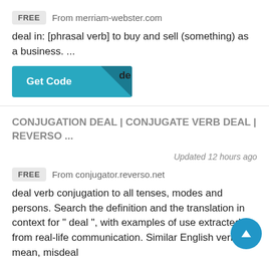FREE   From merriam-webster.com
deal in: [phrasal verb] to buy and sell (something) as a business. ...
[Figure (other): A teal 'Get Code' button with a dark diagonal corner accent and the letters 'de' visible on the right side]
CONJUGATION DEAL | CONJUGATE VERB DEAL | REVERSO ...
Updated 12 hours ago
FREE   From conjugator.reverso.net
deal verb conjugation to all tenses, modes and persons. Search the definition and the translation in context for " deal ", with examples of use extracted from real-life communication. Similar English verbs: mean,  misdeal